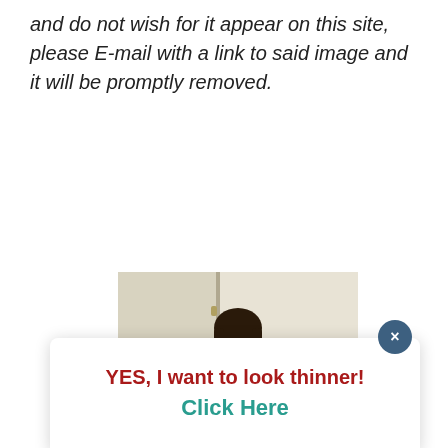and do not wish for it appear on this site, please E-mail with a link to said image and it will be promptly removed.
[Figure (photo): Partial photo of a person with dark hair standing in front of a light-colored wall/door, partially obscured by a popup overlay.]
YES, I want to look thinner! Click Here